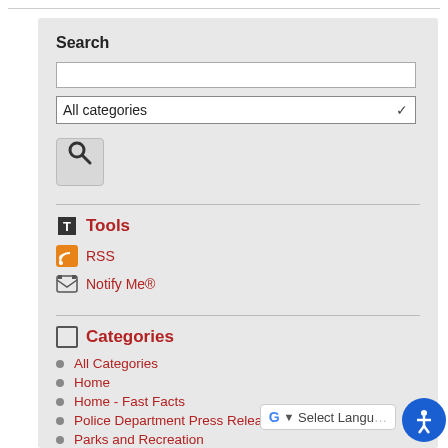Search
[Figure (screenshot): Search input box, category dropdown (All categories), and search button with magnifying glass icon]
Tools
RSS
Notify Me®
Categories
All Categories
Home
Home - Fast Facts
Police Department Press Releases
Parks and Recreation
KOB News
News Releases